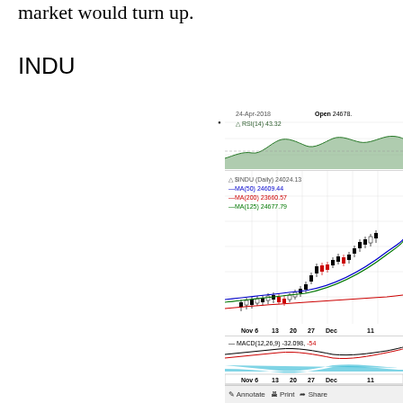market would turn up.
INDU
[Figure (continuous-plot): INDU (Dow Jones Industrial Average) stock chart showing daily candlestick price data from November to December, with RSI(14) indicator panel at top showing 43.32, main price panel showing $INDU Daily 24024.13 with moving averages MA(50) 24609.44 in blue, MA(200) 23660.57 in red, MA(125) 24677.79 in green, and MACD(12,26,9) panel at bottom showing -32.098. Date shown: 24-Apr-2018, Open 24678. X-axis labels: Nov 6, 13, 20, 27, Dec, 11.]